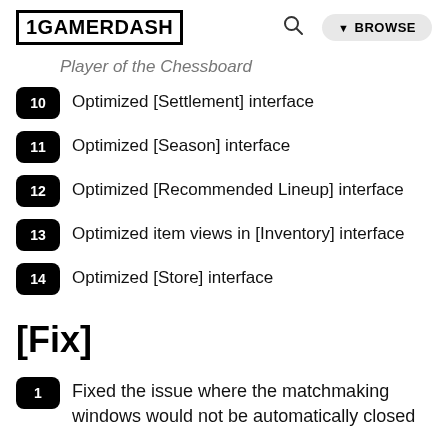1GAMERDASH
Player of the Chessboard
10 Optimized [Settlement] interface
11 Optimized [Season] interface
12 Optimized [Recommended Lineup] interface
13 Optimized item views in [Inventory] interface
14 Optimized [Store] interface
[Fix]
1 Fixed the issue where the matchmaking windows would not be automatically closed